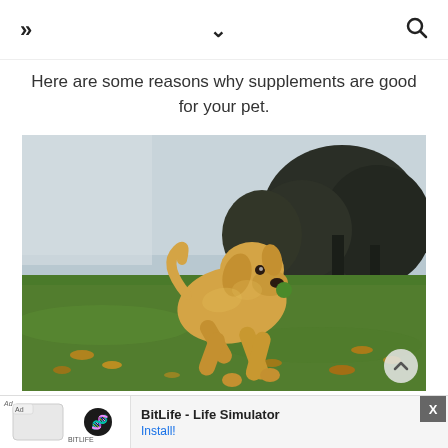» ∨ 🔍
Here are some reasons why supplements are good for your pet.
[Figure (photo): A golden retriever dog running on green grass carrying a ball in its mouth, with trees in the background on an overcast day.]
BitLife - Life Simulator  Install!